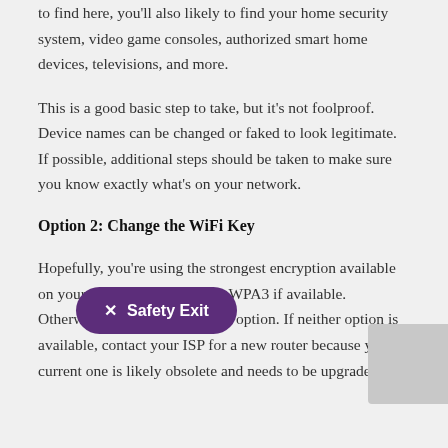to find here, you'll also likely to find your home security system, video game consoles, authorized smart home devices, televisions, and more.
This is a good basic step to take, but it's not foolproof. Device names can be changed or faked to look legitimate. If possible, additional steps should be taken to make sure you know exactly what's on your network.
Option 2: Change the WiFi Key
Hopefully, you're using the strongest encryption available on your device, which may be WPA3 if available. Otherwise, WPA2 should be an option. If neither option is available, contact your ISP for a new router because your current one is likely obsolete and needs to be upgraded or replaced. They can also assist you in choosing the best